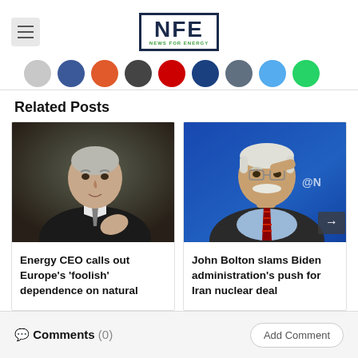NFE News for Energy
Related Posts
[Figure (photo): Energy CEO older man in dark suit gesturing]
Energy CEO calls out Europe’s ‘foolish’ dependence on natural
[Figure (photo): John Bolton in blue shirt and red tie, hand raised to head, @NC watermark visible]
John Bolton slams Biden administration’s push for Iran nuclear deal
Comments (0)
Add Comment